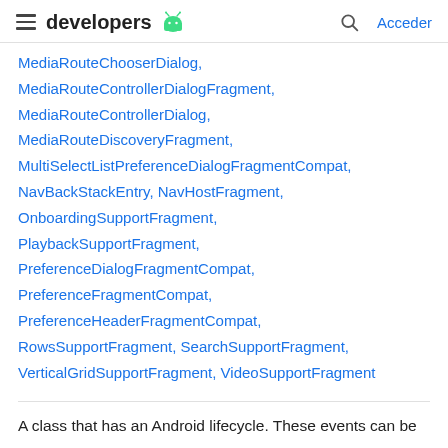developers [android logo] | [search] Acceder
MediaRouteChooserDialog, MediaRouteControllerDialogFragment, MediaRouteControllerDialog, MediaRouteDiscoveryFragment, MultiSelectListPreferenceDialogFragmentCompat, NavBackStackEntry, NavHostFragment, OnboardingSupportFragment, PlaybackSupportFragment, PreferenceDialogFragmentCompat, PreferenceFragmentCompat, PreferenceHeaderFragmentCompat, RowsSupportFragment, SearchSupportFragment, VerticalGridSupportFragment, VideoSupportFragment
A class that has an Android lifecycle. These events can be